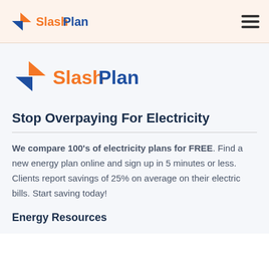SlashPlan logo and hamburger menu navigation bar
[Figure (logo): SlashPlan logo - large version with orange and blue icon and text]
Stop Overpaying For Electricity
We compare 100's of electricity plans for FREE. Find a new energy plan online and sign up in 5 minutes or less. Clients report savings of 25% on average on their electric bills. Start saving today!
Energy Resources